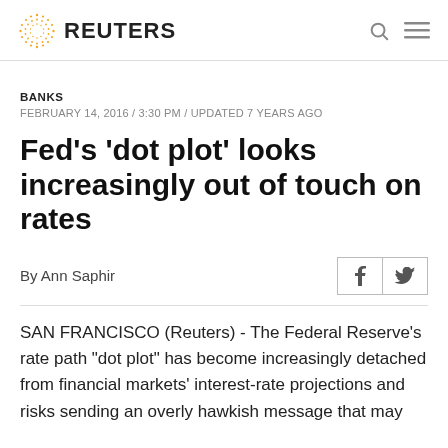REUTERS
BANKS
FEBRUARY 14, 2016 / 3:30 PM / UPDATED 7 YEARS AGO
Fed's 'dot plot' looks increasingly out of touch on rates
By Ann Saphir
SAN FRANCISCO (Reuters) - The Federal Reserve’s rate path “dot plot” has become increasingly detached from financial markets’ interest-rate projections and risks sending an overly hawkish message that may